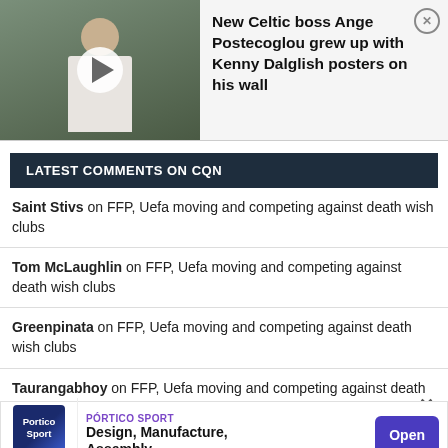[Figure (screenshot): Video thumbnail of a man in white shirt, with play button overlay, on a grey-green background]
New Celtic boss Ange Postecoglou grew up with Kenny Dalglish posters on his wall
LATEST COMMENTS ON CQN
Saint Stivs on FFP, Uefa moving and competing against death wish clubs
Tom McLaughlin on FFP, Uefa moving and competing against death wish clubs
Greenpinata on FFP, Uefa moving and competing against death wish clubs
Taurangabhoy on FFP, Uefa moving and competing against death wish clubs
bigrail … st death …
[Figure (screenshot): Advertisement banner: Portico Sport - Design, Manufacture, Assembly with Open button]